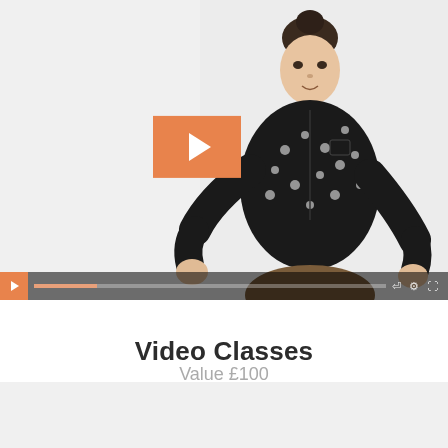[Figure (screenshot): Video player screenshot showing a woman in a black patterned shirt gesturing with her hands against a white background. An orange play button is overlaid in the center. A video control bar with play button, progress bar, and controls is visible at the bottom.]
Video Classes
Value £100